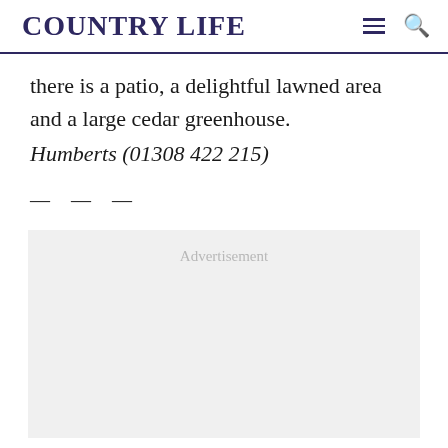COUNTRY LIFE
there is a patio, a delightful lawned area and a large cedar greenhouse.
Humberts (01308 422 215)
— — —
[Figure (other): Advertisement placeholder box with light grey background and 'Advertisement' label in grey text]